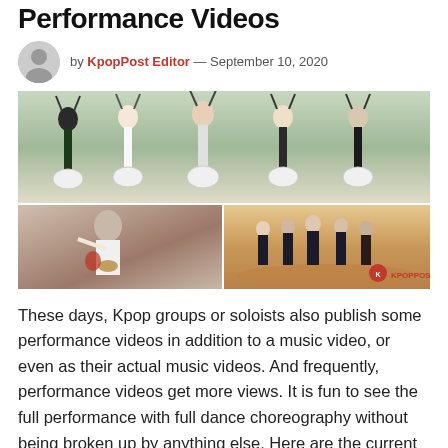Performance Videos
by KpopPost Editor — September 10, 2020
[Figure (photo): Composite of three Kpop performance video screenshots: top shows a group of male performers playing drums in black and white outfits; bottom-left shows a female performer dancing; bottom-right shows a group of male performers standing outdoors with KPOPPOST logo.]
These days, Kpop groups or soloists also publish some performance videos in addition to a music video, or even as their actual music videos. And frequently, performance videos get more views. It is fun to see the full performance with full dance choreography without being broken up by anything else. Here are the current top 20 most-watched performance version of Kpop groups and soloists videos (per